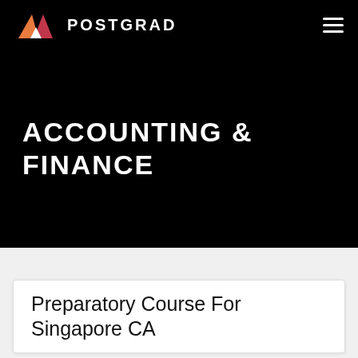POSTGRAD
ACCOUNTING & FINANCE
Preparatory Course For Singapore CA